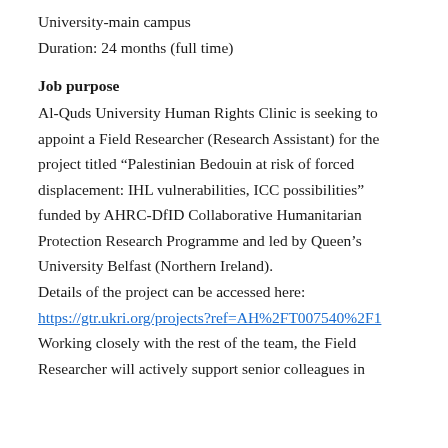University-main campus
Duration: 24 months (full time)
Job purpose
Al-Quds University Human Rights Clinic is seeking to appoint a Field Researcher (Research Assistant) for the project titled “Palestinian Bedouin at risk of forced displacement: IHL vulnerabilities, ICC possibilities” funded by AHRC-DfID Collaborative Humanitarian Protection Research Programme and led by Queen’s University Belfast (Northern Ireland).
Details of the project can be accessed here:
https://gtr.ukri.org/projects?ref=AH%2FT007540%2F1
Working closely with the rest of the team, the Field Researcher will actively support senior colleagues in